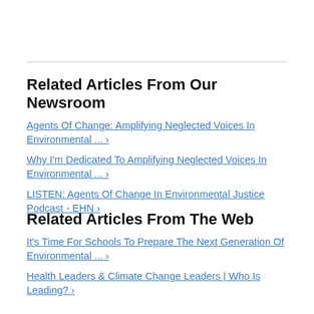Related Articles From Our Newsroom
Agents Of Change: Amplifying Neglected Voices In Environmental ... ›
Why I'm Dedicated To Amplifying Neglected Voices In Environmental ... ›
LISTEN: Agents Of Change In Environmental Justice Podcast - EHN ›
Related Articles From The Web
It's Time For Schools To Prepare The Next Generation Of Environmental ... ›
Health Leaders & Climate Change Leaders | Who Is Leading? ›